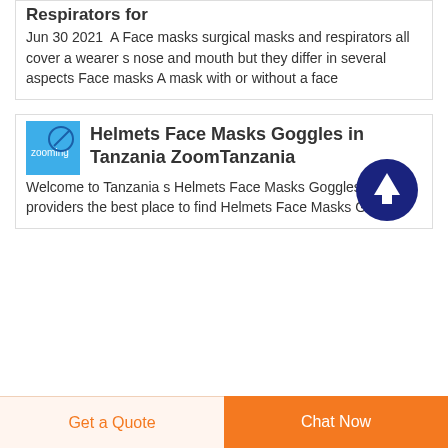Respirators for
Jun 30 2021 A Face masks surgical masks and respirators all cover a wearer s nose and mouth but they differ in several aspects Face masks A mask with or without a face
Helmets Face Masks Goggles in Tanzania ZoomTanzania
Welcome to Tanzania s Helmets Face Masks Goggles providers the best place to find Helmets Face Masks Goggles
Get a Quote
Chat Now